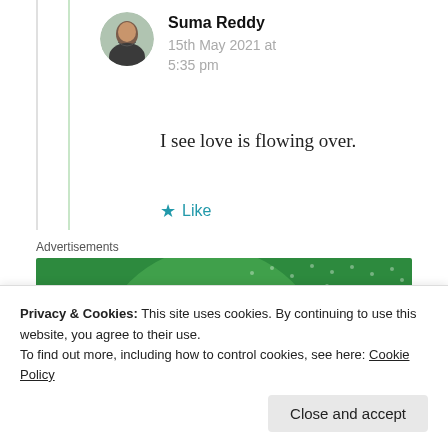Suma Reddy
15th May 2021 at 5:35 pm
I see love is flowing over.
★ Like
Advertisements
[Figure (screenshot): Jetpack advertisement banner with green background showing Jetpack logo and partial tagline 'Like an unde...']
Privacy & Cookies: This site uses cookies. By continuing to use this website, you agree to their use. To find out more, including how to control cookies, see here: Cookie Policy
Close and accept